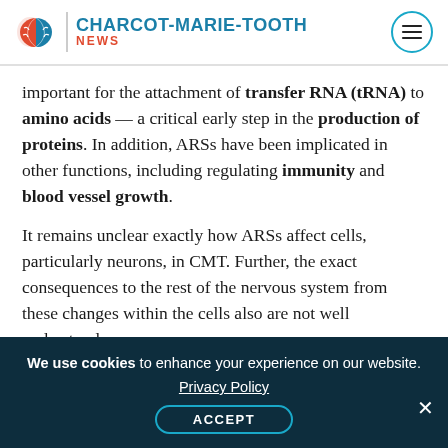CHARCOT-MARIE-TOOTH NEWS
important for the attachment of transfer RNA (tRNA) to amino acids — a critical early step in the production of proteins. In addition, ARSs have been implicated in other functions, including regulating immunity and blood vessel growth.
It remains unclear exactly how ARSs affect cells, particularly neurons, in CMT. Further, the exact consequences to the rest of the nervous system from these changes within the cells also are not well understood.
To learn more, a team of researchers assessed
We use cookies to enhance your experience on our website.
Privacy Policy
ACCEPT